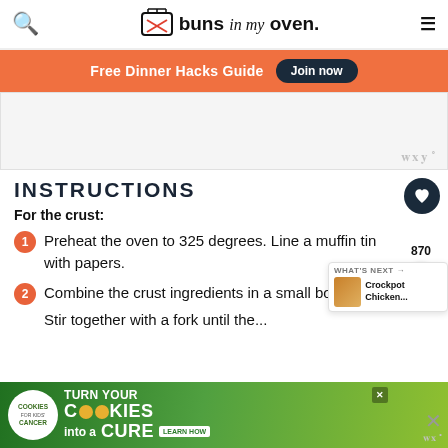buns in my oven.
Free Dinner Hacks Guide   Join now
[Figure (other): Advertisement placeholder area with Mediavine watermark]
INSTRUCTIONS
For the crust:
1. Preheat the oven to 325 degrees. Line a muffin tin with papers.
2. Combine the crust ingredients in a small bowl.
[Figure (other): Bottom advertisement: cookies for kids cancer - turn your cookies into a CURE - LEARN HOW]